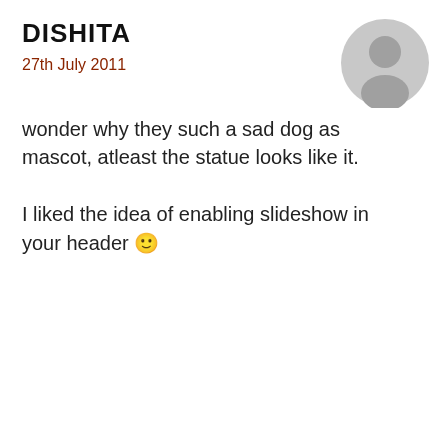DISHITA
27th July 2011
wonder why they such a sad dog as mascot, atleast the statue looks like it.

I liked the idea of enabling slideshow in your header 🙂
[Figure (illustration): Grey placeholder avatar circle icon]
REPLY
Important Privacy Information
I use cookies to personalise content and to analyse my traffic. Please click to accept if you are happy to proceed or use the cookie settings link for more information. Closing this panel accepts all cookies. You can review the cookies I use at any time by going to the cookies link in the main menu.
Cookie Settings
✓ Accept Cookies